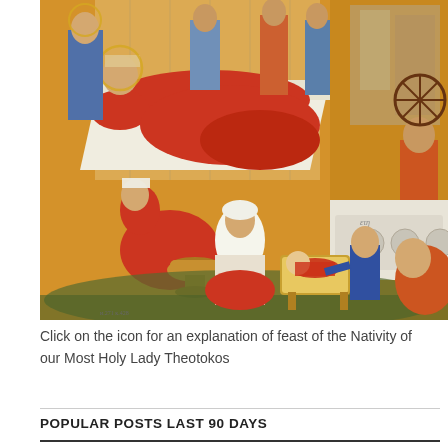[Figure (illustration): Byzantine icon depicting the Nativity of the Theotokos (Birth of the Virgin Mary). The icon shows Saint Anne reclining on a red-draped bed attended by servants. In the lower portion, midwives prepare a bath for the infant Mary who lies in a cradle. Additional figures including attendants with offerings are arranged throughout the golden-background composition.]
Click on the icon for an explanation of feast of the Nativity of our Most Holy Lady Theotokos
POPULAR POSTS LAST 90 DAYS